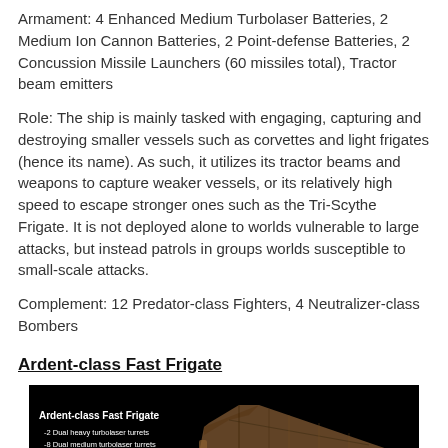Armament: 4 Enhanced Medium Turbolaser Batteries, 2 Medium Ion Cannon Batteries, 2 Point-defense Batteries, 2 Concussion Missile Launchers (60 missiles total), Tractor beam emitters
Role: The ship is mainly tasked with engaging, capturing and destroying smaller vessels such as corvettes and light frigates (hence its name). As such, it utilizes its tractor beams and weapons to capture weaker vessels, or its relatively high speed to escape stronger ones such as the Tri-Scythe Frigate. It is not deployed alone to worlds vulnerable to large attacks, but instead patrols in groups worlds susceptible to small-scale attacks.
Complement: 12 Predator-class Fighters, 4 Neutralizer-class Bombers
Ardent-class Fast Frigate
[Figure (photo): Dark image of the Ardent-class Fast Frigate spacecraft on black background, with overlaid text listing armament: -2 Dual heavy turbolaser turrets, -8 Dual medium turbolaser turrets, -2 Heavy turbolaser batteries, -4 Point-defense laser cannon batteries, -Tractor beam emitter. Complement: 18 Predators, 8 Neutralizers]